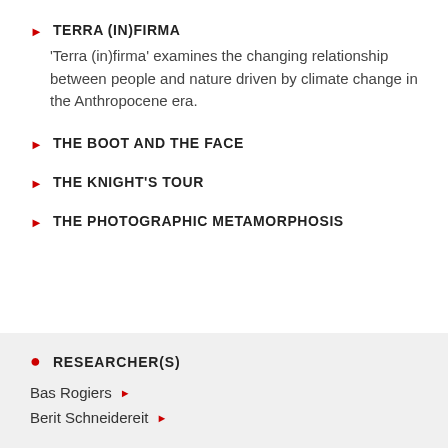TERRA (IN)FIRMA
'Terra (in)firma' examines the changing relationship between people and nature driven by climate change in the Anthropocene era.
THE BOOT AND THE FACE
THE KNIGHT'S TOUR
THE PHOTOGRAPHIC METAMORPHOSIS
RESEARCHER(S)
Bas Rogiers
Berit Schneidereit